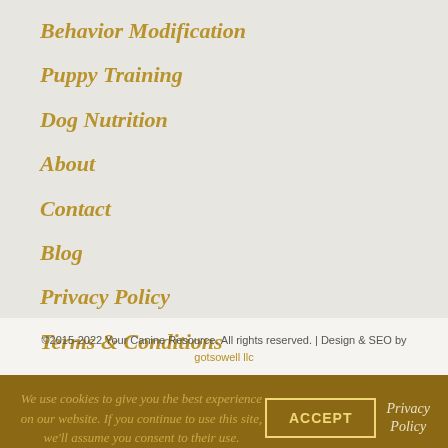Behavior Modification
Puppy Training
Dog Nutrition
About
Contact
Blog
Privacy Policy
Terms & Conditions
©2015-2022 Your Canine Resource. All rights reserved. | Design & SEO by gotsowell llc
We use cookies to give you the best experience on our website. If you continue to use this site, we'll assume you consent to their use.